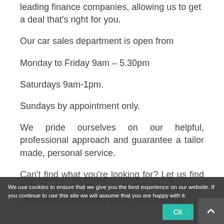leading finance companies, allowing us to get a deal that's right for you.
Our car sales department is open from
Monday to Friday 9am – 5.30pm
Saturdays 9am-1pm.
Sundays by appointment only.
We pride ourselves on our helpful, professional approach and guarantee a tailor made, personal service.
Can't find what you're looking for? Let us find it for you, we have a car finding service dedicated to sourcing a car that's ideal for
We use cookies to ensure that we give you the best experience on our website. If you continue to use this site we will assume that you are happy with it.